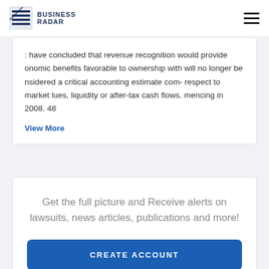BUSINESS RADAR
: have concluded that revenue recognition would provide onomic benefits favorable to ownership with will no longer be nsidered a critical accounting estimate com- respect to market lues, liquidity or after-tax cash flows. mencing in 2008. 48
View More
Get the full picture and Receive alerts on lawsuits, news articles, publications and more!
CREATE ACCOUNT